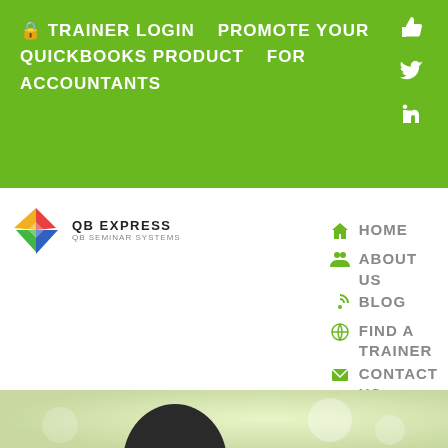🔒 TRAINER LOGIN   PROMOTE YOUR QUICKBOOKS PRODUCT   FOR ACCOUNTANTS
[Figure (logo): QB Express QB Seminar Systems logo with colorful diamond icon]
HOME
ABOUT US
BLOG
FIND A TRAINER
CONTACT US
[Figure (photo): Person's head/silhouette visible at bottom of page against light green background]